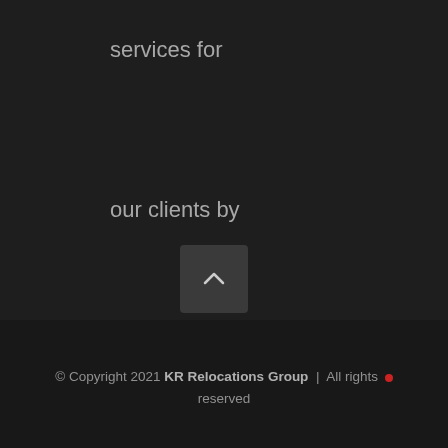services for our clients by providing a 'home away from home' experience.
[Figure (other): A dark square button with an upward-pointing chevron arrow icon, used as a scroll-to-top button]
© Copyright 2021 KR Relocations Group | All rights reserved